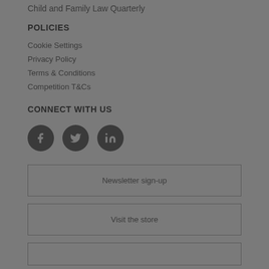Child and Family Law Quarterly
POLICIES
Cookie Settings
Privacy Policy
Terms & Conditions
Competition T&Cs
CONNECT WITH US
[Figure (infographic): Three circular social media icons for Facebook, Twitter, and LinkedIn]
Newsletter sign-up
Visit the store